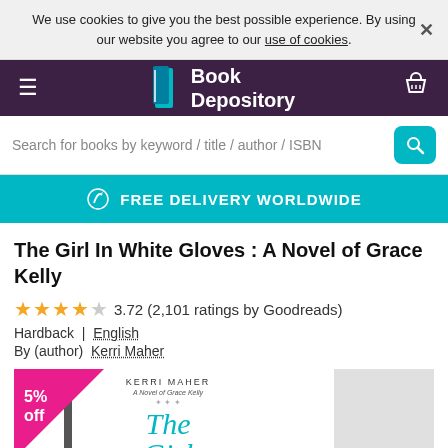We use cookies to give you the best possible experience. By using our website you agree to our use of cookies.
[Figure (screenshot): Book Depository website navigation bar with logo, hamburger menu, and basket icon]
Search for books by keyword / title / author / ISBN
FREE DELIVERY WORLDWIDE
The Girl In White Gloves : A Novel of Grace Kelly
3.72 (2,101 ratings by Goodreads)
Hardback  |  English
By (author)  Kerri Maher
[Figure (photo): Book cover of The Girl In White Gloves by Kerri Maher with 5% off badge]